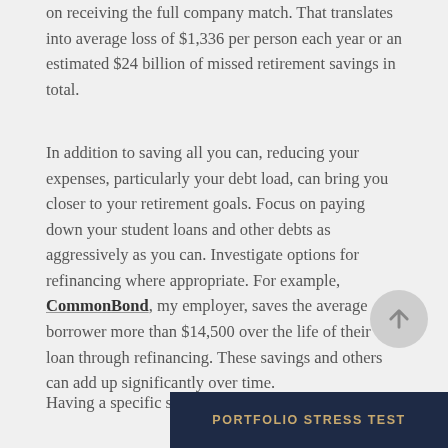on receiving the full company match. That translates into average loss of $1,336 per person each year or an estimated $24 billion of missed retirement savings in total.
In addition to saving all you can, reducing your expenses, particularly your debt load, can bring you closer to your retirement goals. Focus on paying down your student loans and other debts as aggressively as you can. Investigate options for refinancing where appropriate. For example, CommonBond, my employer, saves the average borrower more than $14,500 over the life of their loan through refinancing. These savings and others can add up significantly over time.
Having a specific savings go... can make preparing for retir...
PORTFOLIO STRESS TEST